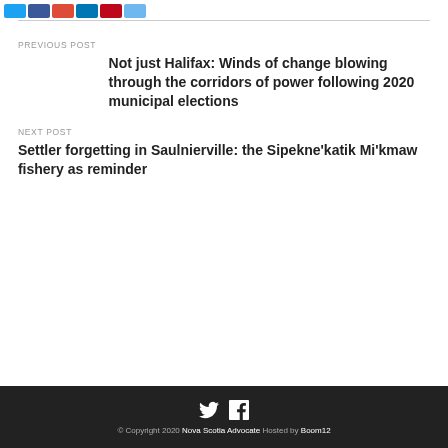[Figure (other): Social share buttons: Twitter (blue), Facebook (dark blue), Google+ (red), LinkedIn (light blue), Pinterest (red), Other (light blue)]
PREVIOUS POST
Not just Halifax: Winds of change blowing through the corridors of power following 2020 municipal elections
NEXT POST
Settler forgetting in Saulnierville: the Sipekne'katik Mi'kmaw fishery as reminder
© Copyright 2020 Nova Scotia Advocate Hosted by Boom12